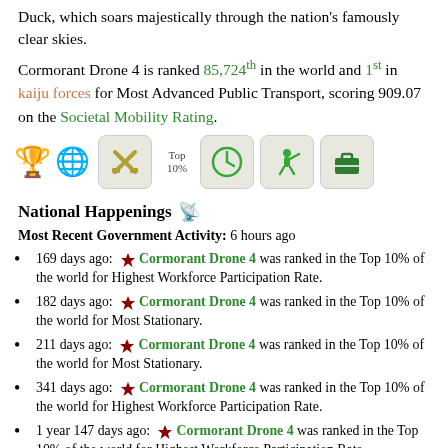Duck, which soars majestically through the nation's famously clear skies.
Cormorant Drone 4 is ranked 85,724th in the world and 1st in kaiju forces for Most Advanced Public Transport, scoring 909.07 on the Societal Mobility Rating.
[Figure (infographic): Row of achievement icons: trophy, globe, crossed tools, Top 10% label, clock, bugler, briefcase]
National Happenings
Most Recent Government Activity: 6 hours ago
169 days ago: Cormorant Drone 4 was ranked in the Top 10% of the world for Highest Workforce Participation Rate.
182 days ago: Cormorant Drone 4 was ranked in the Top 10% of the world for Most Stationary.
211 days ago: Cormorant Drone 4 was ranked in the Top 10% of the world for Most Stationary.
341 days ago: Cormorant Drone 4 was ranked in the Top 10% of the world for Highest Workforce Participation Rate.
1 year 147 days ago: Cormorant Drone 4 was ranked in the Top 10% of the world for Highest Workforce Participation Rate.